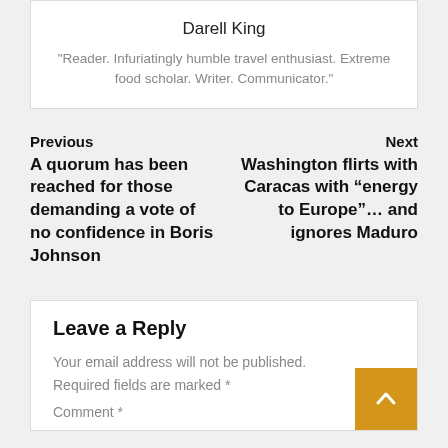Darell King
"Reader. Infuriatingly humble travel enthusiast. Extreme food scholar. Writer. Communicator."
Previous
A quorum has been reached for those demanding a vote of no confidence in Boris Johnson
Next
Washington flirts with Caracas with “energy to Europe”… and ignores Maduro
Leave a Reply
Your email address will not be published. Required fields are marked *
Comment *